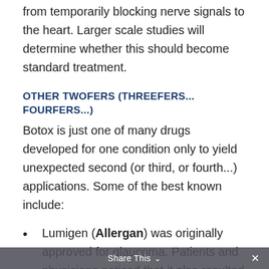from temporarily blocking nerve signals to the heart. Larger scale studies will determine whether this should become standard treatment.
OTHER TWOFERS (THREEFERS... FOURFERS...)
Botox is just one of many drugs developed for one condition only to yield unexpected second (or third, or fourth...) applications. Some of the best known include:
Lumigen (Allergan) was originally approved for glaucoma. Patients and physicians noticed that it also resulted